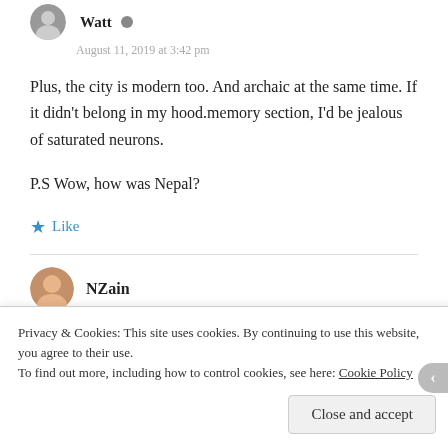[Figure (photo): Avatar icon of user Watt — small circular profile image]
Watt
August 11, 2019 at 3:42 pm
Plus, the city is modern too. And archaic at the same time. If it didn't belong in my hood.memory section, I'd be jealous of saturated neurons.
P.S Wow, how was Nepal?
Like
[Figure (photo): Avatar icon of user NZain — small circular profile image]
NZain
August 11, 2019 at 5:50 pm
Privacy & Cookies: This site uses cookies. By continuing to use this website, you agree to their use.
To find out more, including how to control cookies, see here: Cookie Policy
Close and accept